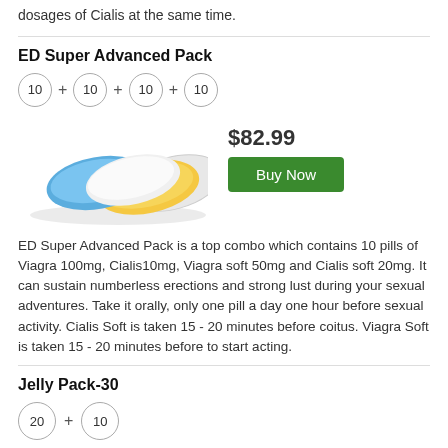dosages of Cialis at the same time.
ED Super Advanced Pack
[Figure (illustration): Product image showing three overlapping pill tablets: blue, white, and yellow/gold colored tablets, with quantity circles showing 10 + 10 + 10 + 10]
$82.99
Buy Now
ED Super Advanced Pack is a top combo which contains 10 pills of Viagra 100mg, Cialis10mg, Viagra soft 50mg and Cialis soft 20mg. It can sustain numberless erections and strong lust during your sexual adventures. Take it orally, only one pill a day one hour before sexual activity. Cialis Soft is taken 15 - 20 minutes before coitus. Viagra Soft is taken 15 - 20 minutes before to start acting.
Jelly Pack-30
[Figure (illustration): Product image showing oral jelly pack with blue pill tablet, quantity circles showing 20 + 10]
$77.99
Buy Now